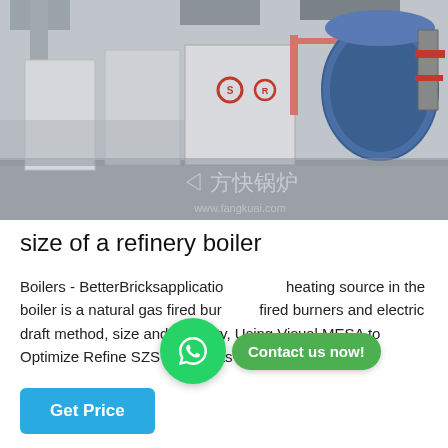[Figure (photo): Industrial boiler room with multiple large gas-fired boilers in a factory setting. White/grey metal cabinets with red Chinese text/logos, and a large blue cylindrical boiler on the right. Chinese watermark text visible in bottom right corner.]
size of a refinery boiler
Boilers - BetterBricksapplication heating source in the boiler is a natural gas fired burner fired burners and electric draft method, size and capacity, Using Visual MESA to Optimize Refine SZS series gas-fired hot water...